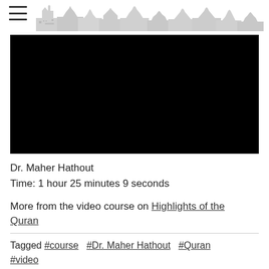[Figure (screenshot): Black video thumbnail/player area]
Dr. Maher Hathout
Time: 1 hour 25 minutes 9 seconds
More from the video course on Highlights of the Quran
Tagged #course   #Dr. Maher Hathout   #Quran #video